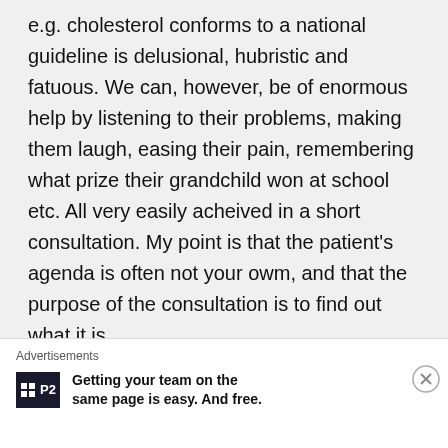e.g. cholesterol conforms to a national guideline is delusional, hubristic and fatuous. We can, however, be of enormous help by listening to their problems, making them laugh, easing their pain, remembering what prize their grandchild won at school etc. All very easily acheived in a short consultation. My point is that the patient's agenda is often not your owm, and that the purpose of the consultation is to find out what it is,
Advertisements
Getting your team on the same page is easy. And free.